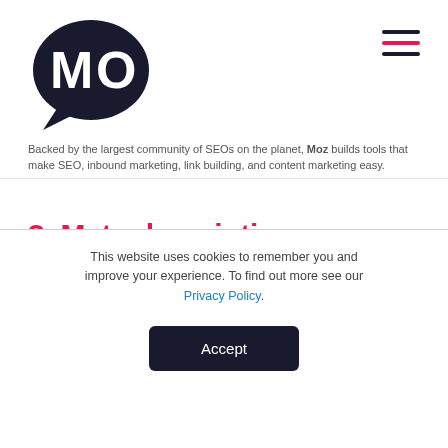[Figure (logo): Moz logo — a dark navy speech bubble with 'MO' letters inside in white]
Backed by the largest community of SEOs on the planet, Moz builds tools that make SEO, inbound marketing, link building, and content marketing easy.
3. Meta descriptions
The meta description is a description which tells the user and the search engine what they will find on a page. In fact, the meta
This website uses cookies to remember you and improve your experience. To find out more see our Privacy Policy.